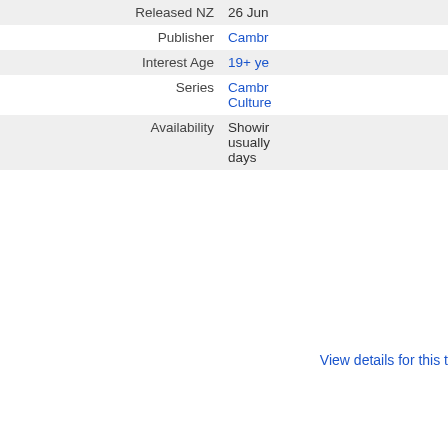| Field | Value |
| --- | --- |
| Released NZ | 26 Jun... |
| Publisher | Cambr... |
| Interest Age | 19+ ye... |
| Series | Cambr... Culture... |
| Availability | Showin... usually... days |
View details for this t...
[Figure (other): Book cover with FS italic text in red]
The Cambridge C... Renaissance (Har...)
Edited by Wyatt, Micha...
Leading international con... panorama of the Italian R...
| Field | Value |
| --- | --- |
| ISBN | 978052... |
| Released NZ | 26 Jun... |
| Publisher | Cambr... |
| Interest Age | 19+ ye... |
| Series | Cambr... |